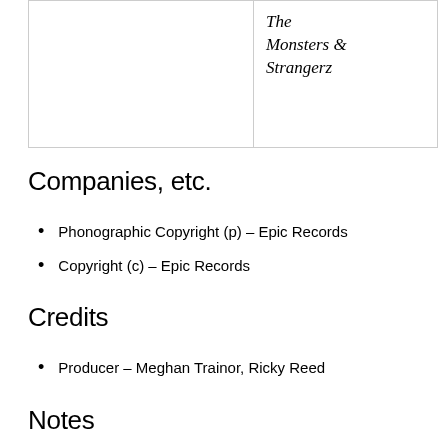|  | The
Monsters &
Strangerz |
Companies, etc.
Phonographic Copyright (p) – Epic Records
Copyright (c) – Epic Records
Credits
Producer – Meghan Trainor, Ricky Reed
Notes
Records come in printed sleeves. Download card included.